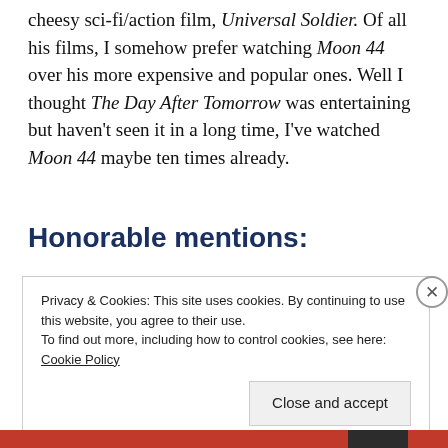cheesy sci-fi/action film, Universal Soldier. Of all his films, I somehow prefer watching Moon 44 over his more expensive and popular ones. Well I thought The Day After Tomorrow was entertaining but haven't seen it in a long time, I've watched Moon 44 maybe ten times already.
Honorable mentions:
Privacy & Cookies: This site uses cookies. By continuing to use this website, you agree to their use. To find out more, including how to control cookies, see here: Cookie Policy